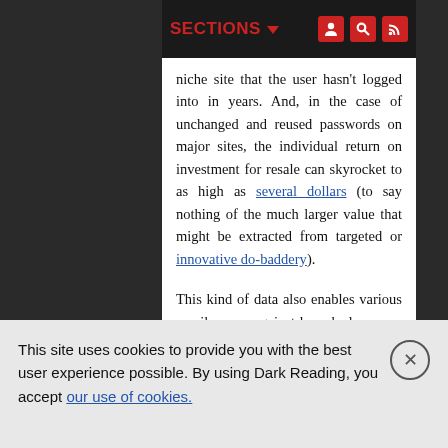SECTIONS ▼
niche site that the user hasn't logged into in years. And, in the case of unchanged and reused passwords on major sites, the individual return on investment for resale can skyrocket to as high as several dollars (to say nothing of the much larger value that might be extracted from targeted or innovative do-baddery).
This kind of data also enables various email scams against breached users -- particularly, a relatively nascent twist on an old sextortion scheme. Since at least this past summer, cyber criminals began sending out emails with the recipient's hacked password from an old data breach in the subject line of the email. As cybersecurity journalist Brian Krebs and others
This site uses cookies to provide you with the best user experience possible. By using Dark Reading, you accept our use of cookies.